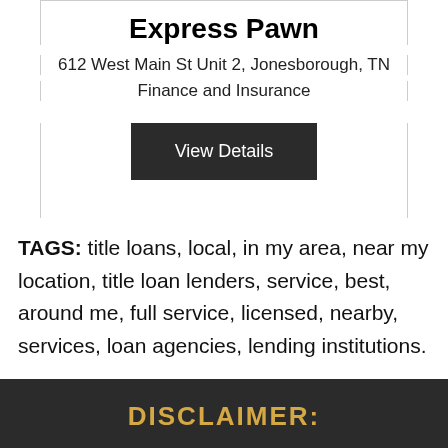Express Pawn
612 West Main St Unit 2, Jonesborough, TN
Finance and Insurance
View Details
TAGS: title loans, local, in my area, near my location, title loan lenders, service, best, around me, full service, licensed, nearby, services, loan agencies, lending institutions.
DISCLAIMER: